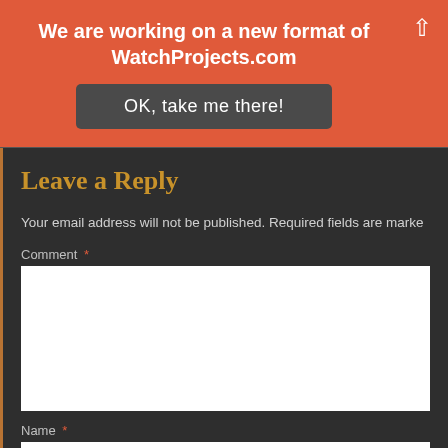We are working on a new format of WatchProjects.com
OK, take me there!
Leave a Reply
Your email address will not be published. Required fields are marked
Comment *
Name *
Email *